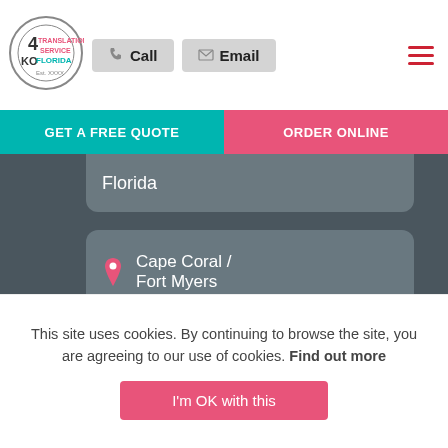[Figure (logo): Gecko Translation Service Florida logo - circular logo with gecko and '4KO' text]
Call
Email
GET A FREE QUOTE
ORDER ONLINE
Florida
Cape Coral / Fort Myers
Doral, Miami-Dade, Florida
Hialeah,
This site uses cookies. By continuing to browse the site, you are agreeing to our use of cookies. Find out more
I'm OK with this